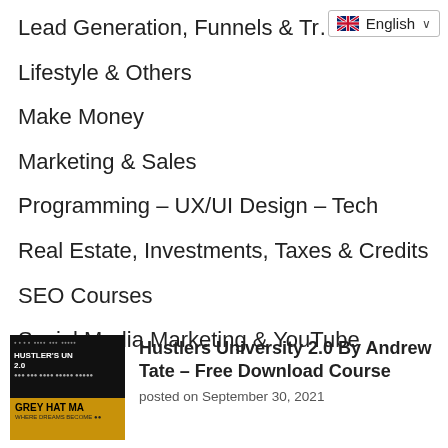Lead Generation, Funnels & Tr…
Lifestyle & Others
Make Money
Marketing & Sales
Programming – UX/UI Design – Tech
Real Estate, Investments, Taxes & Credits
SEO Courses
Social Media Marketing & YouTube
[Figure (screenshot): Thumbnail image for Hustlers University 2.0 course, dark background with grey hat branding and gold/yellow lower section]
Hustlers University 2.0 By Andrew Tate – Free Download Course
posted on September 30, 2021